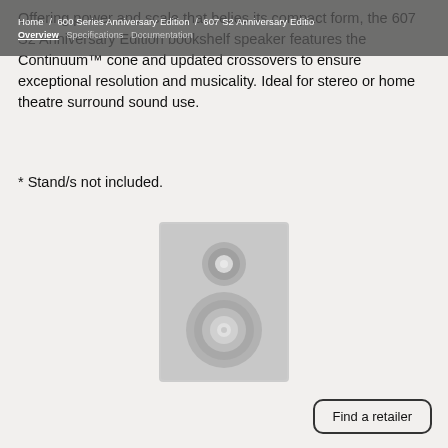Home / 600 Series Anniversary Edition / 607 S2 Anniversary Edition | Overview  Specifications  Documentation
Offering power and scale that belies its compact form, the 607 S2 Anniversary Edition bookshelf speaker features the Continuum™ cone and updated crossovers to ensure exceptional resolution and musicality. Ideal for stereo or home theatre surround sound use.
* Stand/s not included.
[Figure (photo): Photo of the 607 S2 Anniversary Edition bookshelf speaker, light grey in color, showing the front face with a circular tweeter on top and a larger woofer below, on a light background.]